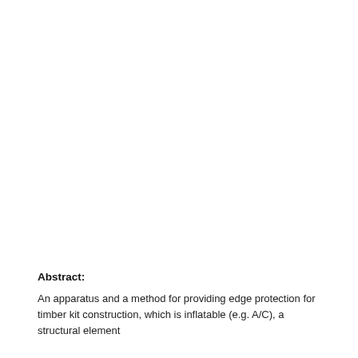Abstract:
An apparatus and a method for providing edge protection for timber kit construction, which is inflatable (e.g. A/C), a structural element